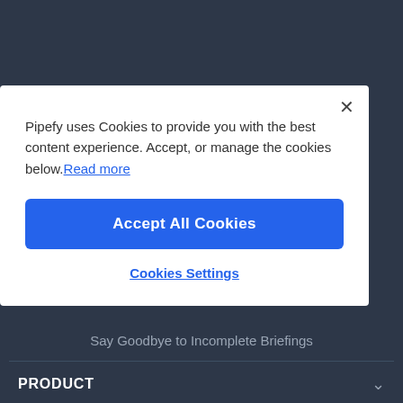[Figure (screenshot): Dark background website navigation area]
Pipefy uses Cookies to provide you with the best content experience. Accept, or manage the cookies below. Read more
Accept All Cookies
Cookies Settings
Say Goodbye to Incomplete Briefings
PRODUCT